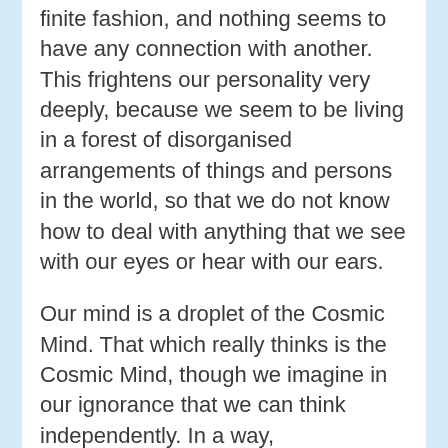finite fashion, and nothing seems to have any connection with another. This frightens our personality very deeply, because we seem to be living in a forest of disorganised arrangements of things and persons in the world, so that we do not know how to deal with anything that we see with our eyes or hear with our ears.
Our mind is a droplet of the Cosmic Mind. That which really thinks is the Cosmic Mind, though we imagine in our ignorance that we can think independently. In a way, pragmatically speaking, each one of us thinks independently, and quite differently from other people. This difference in the way of our thinking as individuals is caused not because the Cosmic Mind is not working in any one of us, but because it is reflected in our personality in different ways, due to the